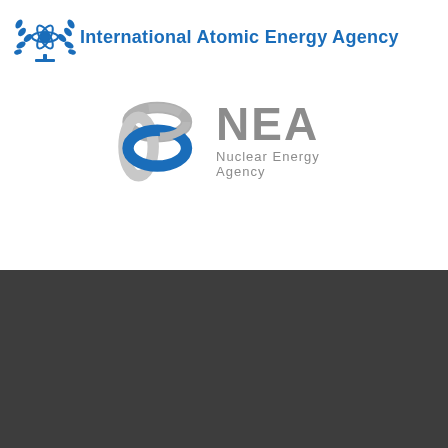[Figure (logo): International Atomic Energy Agency logo with olive branch emblem and blue text]
[Figure (logo): NEA Nuclear Energy Agency logo with blue and silver interlocking rings and grey text]
[Figure (logo): World Nuclear University logo with white X mark symbol and white text on dark background]
[Figure (logo): Social media icons: Twitter, Facebook, Instagram, LinkedIn in white on dark background]